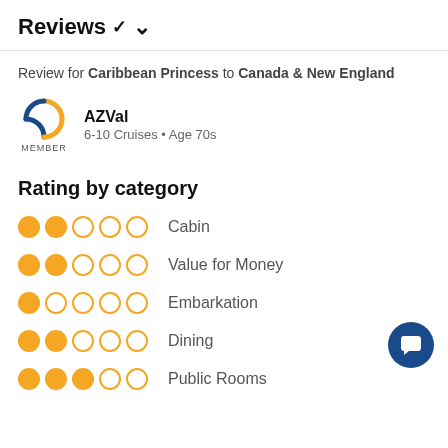Reviews ∨
Review for Caribbean Princess to Canada & New England
AZVal
6-10 Cruises • Age 70s
Rating by category
Cabin — 2/5 stars
Value for Money — 2/5 stars
Embarkation — 1/5 stars
Dining — 2/5 stars
Public Rooms — 3/5 stars